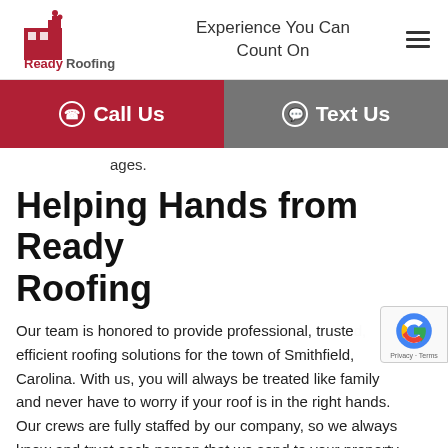[Figure (logo): Ready Roofing Company logo with a house/building icon in red and grey, with text 'ReadyRoofing company' below]
Experience You Can Count On
ages.
Helping Hands from Ready Roofing
Our team is honored to provide professional, trusted, efficient roofing solutions for the town of Smithfield, Carolina. With us, you will always be treated like family and never have to worry if your roof is in the right hands. Our crews are fully staffed by our company, so we always know and trust each person that we send to your property. Our helpful technicians are here to provide you with